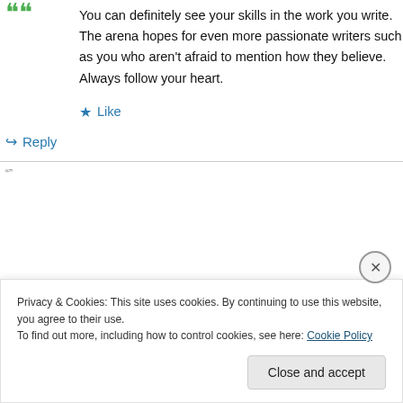You can definitely see your skills in the work you write. The arena hopes for even more passionate writers such as you who aren't afraid to mention how they believe. Always follow your heart.
★ Like
↪ Reply
Privacy & Cookies: This site uses cookies. By continuing to use this website, you agree to their use.
To find out more, including how to control cookies, see here: Cookie Policy
Close and accept